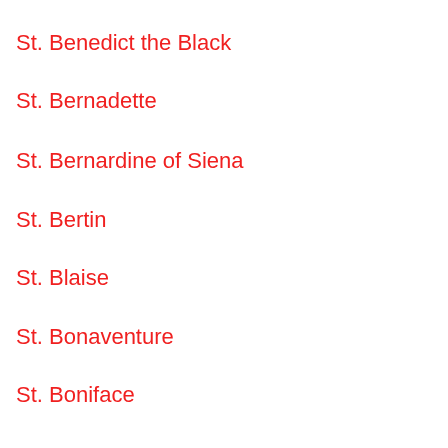St. Benedict the Black
St. Bernadette
St. Bernardine of Siena
St. Bertin
St. Blaise
St. Bonaventure
St. Boniface